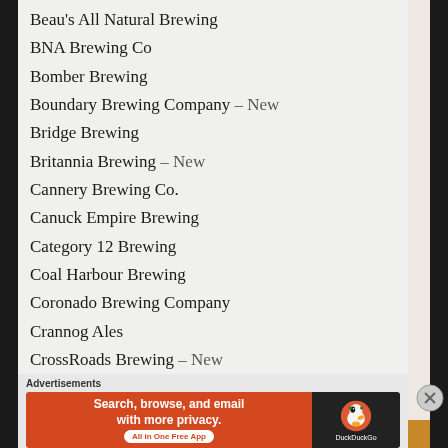Beau's All Natural Brewing
BNA Brewing Co
Bomber Brewing
Boundary Brewing Company – New
Bridge Brewing
Britannia Brewing – New
Cannery Brewing Co.
Canuck Empire Brewing
Category 12 Brewing
Coal Harbour Brewing
Coronado Brewing Company
Crannog Ales
CrossRoads Brewing – New
Dead Frog
Advertisements
[Figure (screenshot): DuckDuckGo advertisement banner: 'Search, browse, and email with more privacy. All in One Free App' on orange background with DuckDuckGo duck logo on dark background]